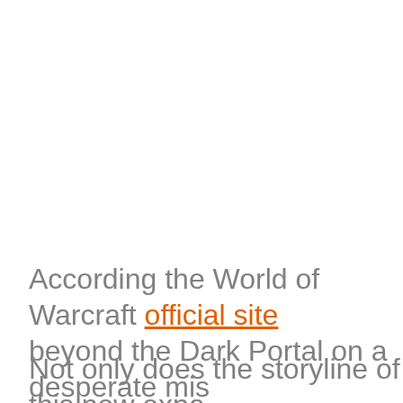According the World of Warcraft official site, beyond the Dark Portal on a desperate mis—a formidable army of the most infamous c players explore the savage alien world of D befriend unlikely allies, construct and comm front lines in the battle to save Azeroth from
Not only does the storyline of this new expa other eye-catching features added into it. In be able to leap from 90 to 100 at last, com